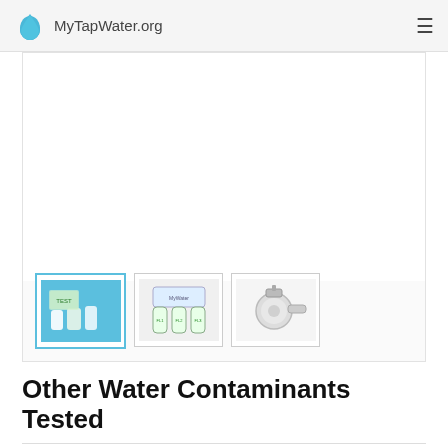MyTapWater.org
[Figure (photo): Product image carousel showing water testing/filtration products. Three thumbnails visible: test kit with blue background (active/selected), under-sink multi-filter system, and faucet-mount filter.]
Other Water Contaminants Tested
The following contaminants were tested and found to be within the accepted EPA guidelines.